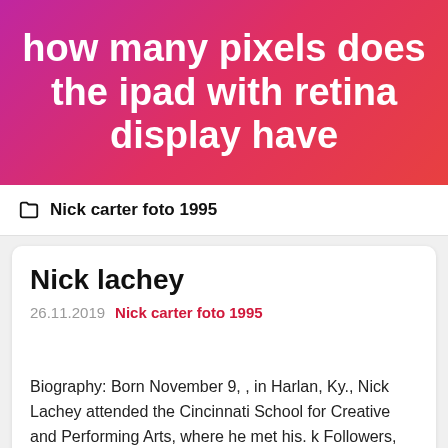how many pixels does the ipad with retina display have
Nick carter foto 1995
Nick lachey
26.11.2019  Nick carter foto 1995
Biography: Born November 9, , in Harlan, Ky., Nick Lachey attended the Cincinnati School for Creative and Performing Arts, where he met his. k Followers, Following, Posts - See